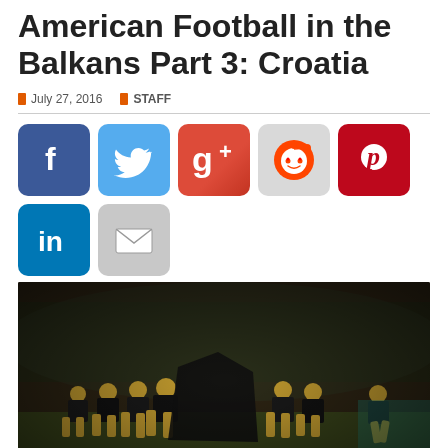American Football in the Balkans Part 3: Croatia
July 27, 2016   STAFF
[Figure (infographic): Social media sharing buttons: Facebook, Twitter, Google+, Reddit, Pinterest, LinkedIn, Email]
[Figure (photo): American football players in black and gold uniforms practicing on a track field, with trees and bleachers in the background. Vintage/filtered photo style.]